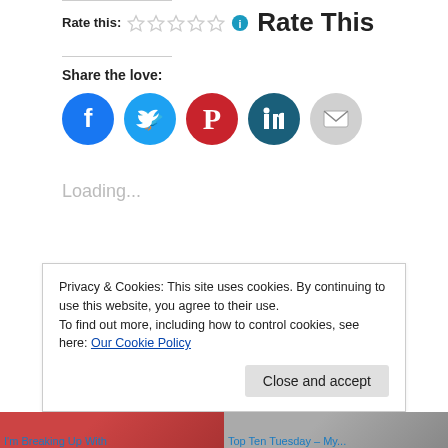Rate this:
Rate This
Share the love:
[Figure (infographic): Five social media share buttons: Facebook (blue circle), Twitter (light blue circle), Pinterest (red circle), LinkedIn (dark teal circle), Email (grey circle)]
Loading...
Privacy & Cookies: This site uses cookies. By continuing to use this website, you agree to their use.
To find out more, including how to control cookies, see here: Our Cookie Policy
Close and accept
I'm Breaking Up With
Top Ten Tuesday – My...